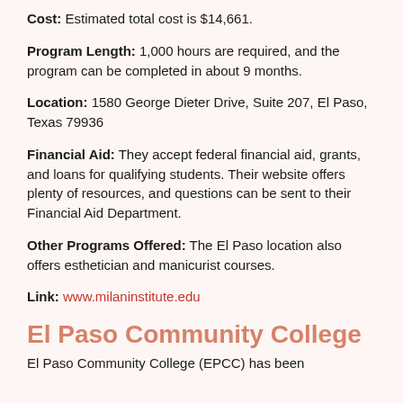Cost: Estimated total cost is $14,661.
Program Length: 1,000 hours are required, and the program can be completed in about 9 months.
Location: 1580 George Dieter Drive, Suite 207, El Paso, Texas 79936
Financial Aid: They accept federal financial aid, grants, and loans for qualifying students. Their website offers plenty of resources, and questions can be sent to their Financial Aid Department.
Other Programs Offered: The El Paso location also offers esthetician and manicurist courses.
Link: www.milaninstitute.edu
El Paso Community College
El Paso Community College (EPCC) has been